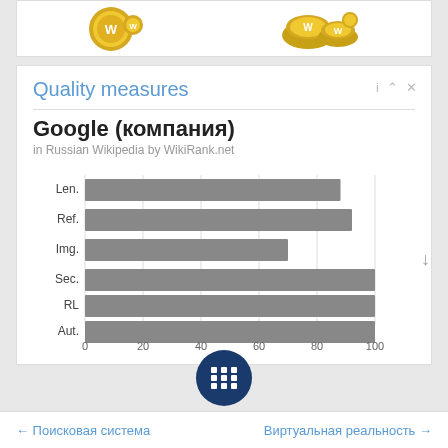[Figure (illustration): Two gold coin images at the top]
Quality measures
Google (компания)
in Russian Wikipedia by WikiRank.net
[Figure (bar-chart): Google (компания) in Russian Wikipedia by WikiRank.net]
← Поисковая система   Виртуальная реальность →